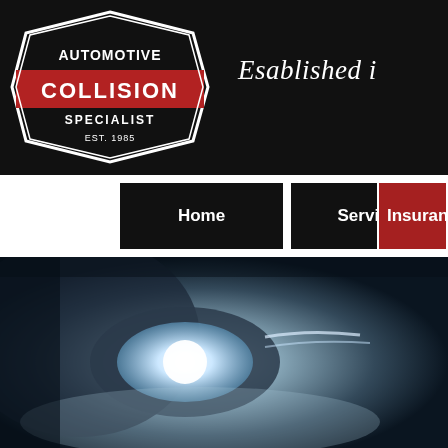[Figure (logo): Automotive Collision Specialist badge logo with red COLLISION text on black shield shape, EST. 1985]
Esablished i
Home
Services
Insuran
[Figure (photo): Close-up of a modern car headlight glowing bright white/blue on a dark background]